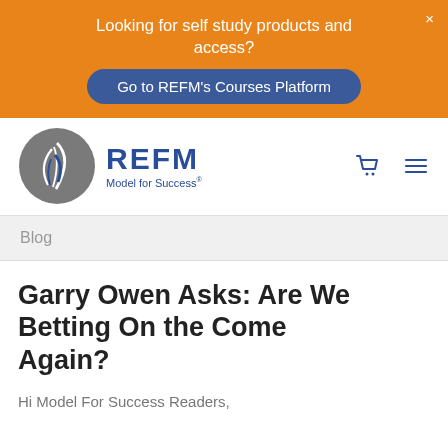Looking for self study products and access?
Go to REFM's Courses Platform
[Figure (logo): REFM – Model for Success logo with circular grey emblem containing stylized white feather/leaf mark]
Blog
Garry Owen Asks: Are We Betting On the Come Again?
Hi Model For Success Readers,